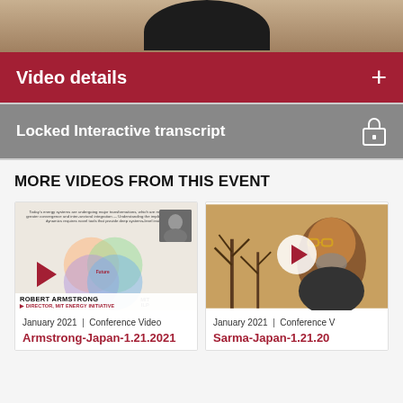[Figure (screenshot): Top portion showing a person's torso/shoulders at top of page, brownish background]
Video details
Locked Interactive transcript
MORE VIDEOS FROM THIS EVENT
[Figure (screenshot): Video thumbnail showing a Venn diagram slide with overlapping colored circles, MIT ILP branding, Robert Armstrong speaker name, and a play button]
January 2021  |  Conference Video
Armstrong-Japan-1.21.2021
[Figure (screenshot): Video thumbnail showing a man with glasses and beard outdoors, with play button overlay]
January 2021  |  Conference V
Sarma-Japan-1.21.20